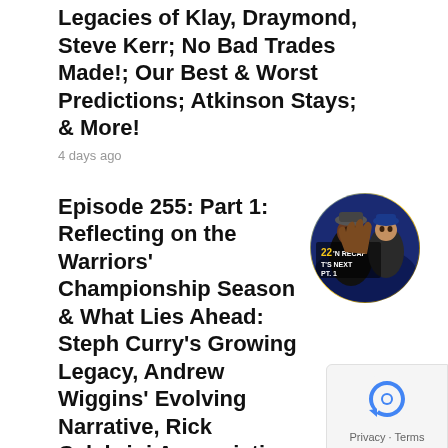Legacies of Klay, Draymond, Steve Kerr; No Bad Trades Made!; Our Best & Worst Predictions; Atkinson Stays; & More!
4 days ago
Episode 255: Part 1: Reflecting on the Warriors' Championship Season & What Lies Ahead: Steph Curry's Growing Legacy, Andrew Wiggins' Evolving Narrative, Rick Celebrini Appreciation, Steve Kerr's Defensive Mindset
[Figure (photo): Circular thumbnail photo of Warriors fans/players celebrating with text overlay showing '22 RECAP' and 'S NEXT PT.1']
5 days ago
ARCHIVES
Select Month